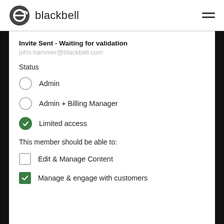[Figure (logo): Blackbell logo: circular icon with stylized 'e' letter followed by the word 'blackbell' in grey sans-serif text]
Invite Sent - Waiting for validation
john.hammer@blackbell.com
Status
Admin
Admin + Billing Manager
Limited access (selected)
This member should be able to:
Edit & Manage Content (unchecked)
Manage & engage with customers (checked)